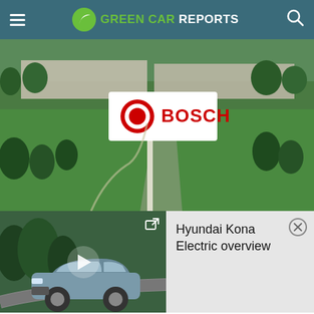GREEN CAR REPORTS
[Figure (photo): Aerial view of Bosch facility with large Bosch logo sign in foreground, green lawn and trees surrounding industrial buildings in background]
[Figure (screenshot): Video player thumbnail showing a Hyundai Kona Electric car with play button overlay]
Hyundai Kona Electric overview